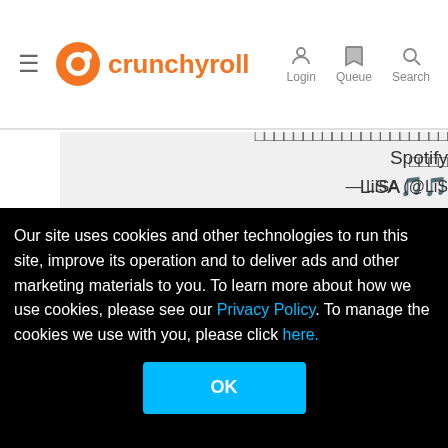≡  crunchyroll   Login  Queue  Search
Spotify
LiSA🎵
LiSA has surpassed ONE BIL
Thank you for your continued support
— LiSA (@LiS
□□□□□□□□
□□□□□□□□□□□□□□□□□□□□
□□□□
— LiSA (@LiS
Our site uses cookies and other technologies to run this site, improve its operation and to deliver ads and other marketing materials to you. To learn more about how we use cookies, please see our Privacy Policy. To manage the cookies we use with you, please click here.
OK